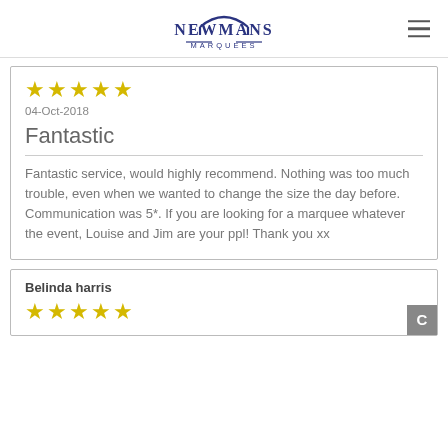[Figure (logo): Newmans Marquees logo with house/arch shape above text]
★★★★★
04-Oct-2018
Fantastic
Fantastic service, would highly recommend. Nothing was too much trouble, even when we wanted to change the size the day before. Communication was 5*. If you are looking for a marquee whatever the event, Louise and Jim are your ppl! Thank you xx
Belinda harris
★★★★★